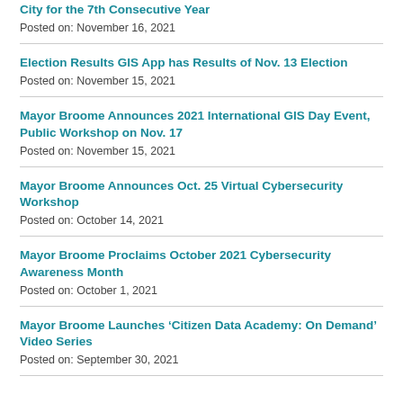City for the 7th Consecutive Year
Posted on: November 16, 2021
Election Results GIS App has Results of Nov. 13 Election
Posted on: November 15, 2021
Mayor Broome Announces 2021 International GIS Day Event, Public Workshop on Nov. 17
Posted on: November 15, 2021
Mayor Broome Announces Oct. 25 Virtual Cybersecurity Workshop
Posted on: October 14, 2021
Mayor Broome Proclaims October 2021 Cybersecurity Awareness Month
Posted on: October 1, 2021
Mayor Broome Launches ‘Citizen Data Academy: On Demand’ Video Series
Posted on: September 30, 2021